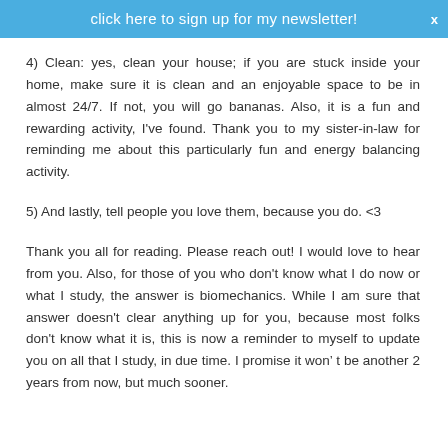click here to sign up for my newsletter!
4) Clean: yes, clean your house; if you are stuck inside your home, make sure it is clean and an enjoyable space to be in almost 24/7. If not, you will go bananas. Also, it is a fun and rewarding activity, I've found. Thank you to my sister-in-law for reminding me about this particularly fun and energy balancing activity.
5) And lastly, tell people you love them, because you do. <3
Thank you all for reading. Please reach out! I would love to hear from you. Also, for those of you who don't know what I do now or what I study, the answer is biomechanics. While I am sure that answer doesn't clear anything up for you, because most folks don't know what it is, this is now a reminder to myself to update you on all that I study, in due time. I promise it won't be another 2 years from now, but much sooner.